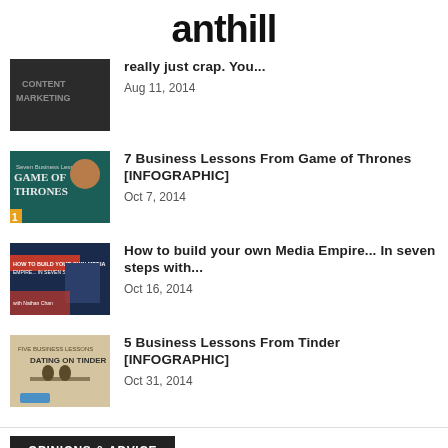anthill
[Figure (photo): Content Marketing thumbnail image - dark photo with text overlay saying CONTENT MARKETING (partially cut off at top)]
really just crap. You...
Aug 11, 2014
[Figure (photo): Seven Business Lessons from Game of Thrones infographic thumbnail - dark teal background with GOT-style text]
7 Business Lessons From Game of Thrones [INFOGRAPHIC]
Oct 7, 2014
[Figure (photo): How to Build Your Own Media Empire infographic thumbnail - dark blue/red background with presenter image]
How to build your own Media Empire... In seven steps with...
Oct 16, 2014
[Figure (photo): Five Business Lessons from Dating on Tinder thumbnail - beige/tan background with silhouettes on bench]
5 Business Lessons From Tinder [INFOGRAPHIC]
Oct 31, 2014
OPINIONS & ADVICE